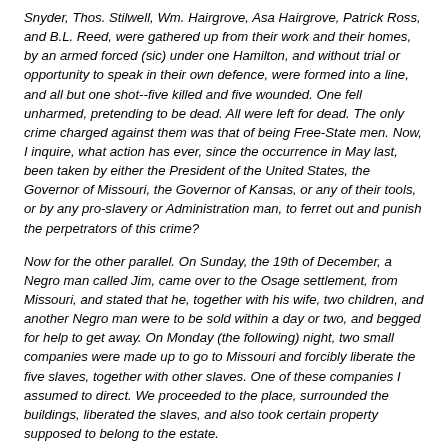Snyder, Thos. Stilwell, Wm. Hairgrove, Asa Hairgrove, Patrick Ross, and B.L. Reed, were gathered up from their work and their homes, by an armed forced (sic) under one Hamilton, and without trial or opportunity to speak in their own defence, were formed into a line, and all but one shot--five killed and five wounded. One fell unharmed, pretending to be dead. All were left for dead. The only crime charged against them was that of being Free-State men. Now, I inquire, what action has ever, since the occurrence in May last, been taken by either the President of the United States, the Governor of Missouri, the Governor of Kansas, or any of their tools, or by any pro-slavery or Administration man, to ferret out and punish the perpetrators of this crime?
Now for the other parallel. On Sunday, the 19th of December, a Negro man called Jim, came over to the Osage settlement, from Missouri, and stated that he, together with his wife, two children, and another Negro man were to be sold within a day or two, and begged for help to get away. On Monday (the following) night, two small companies were made up to go to Missouri and forcibly liberate the five slaves, together with other slaves. One of these companies I assumed to direct. We proceeded to the place, surrounded the buildings, liberated the slaves, and also took certain property supposed to belong to the estate.
We however learned, before leaving, that a portion of the articles we had taken belonged to a man living on the plantation as a tenant, and who was supposed to have no interest in the estate. We promptly returned to him all we had taken. We then went to another plantation, where we freed five more slaves, took some property, and two white men. We moved all